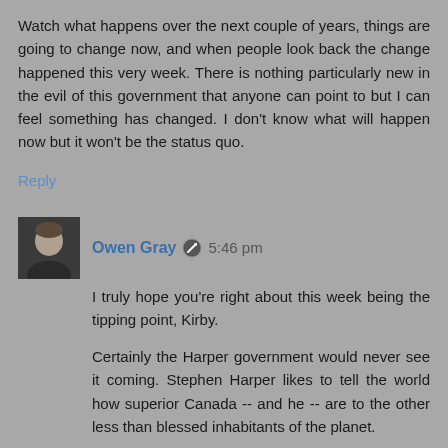Watch what happens over the next couple of years, things are going to change now, and when people look back the change happened this very week. There is nothing particularly new in the evil of this government that anyone can point to but I can feel something has changed. I don't know what will happen now but it won't be the status quo.
Reply
Owen Gray  5:46 pm
I truly hope you're right about this week being the tipping point, Kirby.
Certainly the Harper government would never see it coming. Stephen Harper likes to tell the world how superior Canada -- and he -- are to the other less than blessed inhabitants of the planet.
It's truly time for the wheel to turn.
Reply